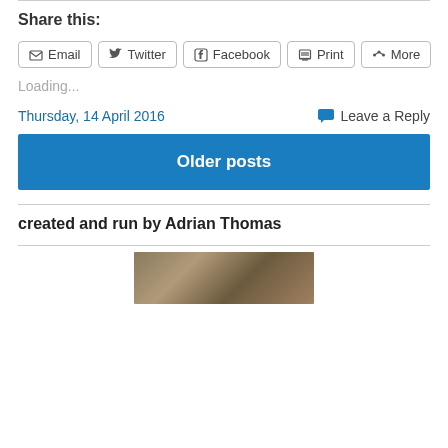Share this:
Email | Twitter | Facebook | Print | More
Loading...
Thursday, 14 April 2016
Leave a Reply
Older posts
created and run by Adrian Thomas
[Figure (photo): Partial photo visible at bottom of page]